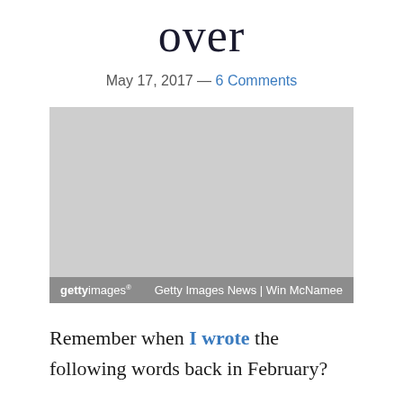over
May 17, 2017 — 6 Comments
[Figure (photo): Getty Images photo placeholder with grey background and Getty Images watermark bar at bottom showing 'gettyimages' logo and 'Getty Images News | Win McNamee' credit]
Remember when I wrote the following words back in February?